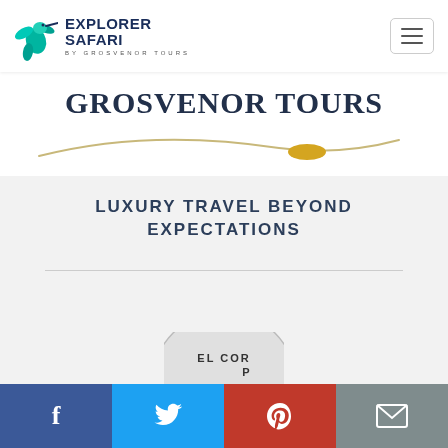[Figure (logo): Explorer Safari by Grosvenor Tours hummingbird logo with text]
[Figure (logo): GROSVENOR TOURS text logo with decorative swoosh and gold ellipse]
LUXURY TRAVEL BEYOND EXPECTATIONS
[Figure (logo): Partial circular logo at bottom of page, text partially visible: EL CORP]
[Figure (infographic): Social sharing bar with Facebook, Twitter, Pinterest, and Email buttons]